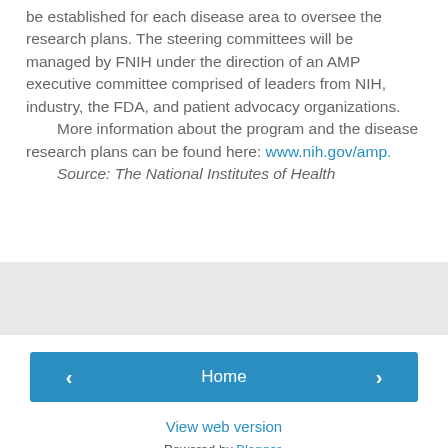be established for each disease area to oversee the research plans. The steering committees will be managed by FNIH under the direction of an AMP executive committee comprised of leaders from NIH, industry, the FDA, and patient advocacy organizations.
  More information about the program and the disease research plans can be found here: www.nih.gov/amp.
  Source: The National Institutes of Health
[Figure (other): Gray banner/advertisement bar]
‹
Home
›
View web version
Powered by Blogger.